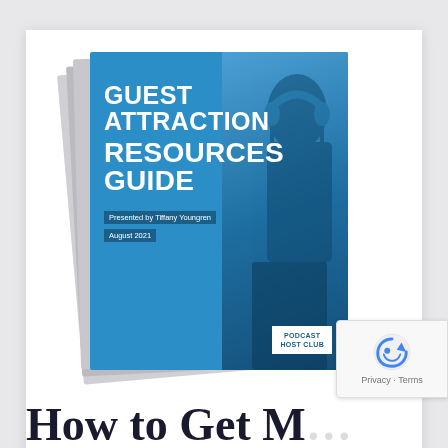[Figure (illustration): Stack of printed guides/booklets showing the cover of 'Guest Attraction Resources Guide' presented by Tiffany Youngren, August 2021. Cover features blue background with large white bold text and a photo of a person wearing headphones on the right side. A 'Podcast Host Club' badge appears in the bottom right of the cover.]
Privacy · Terms
How to Get M...